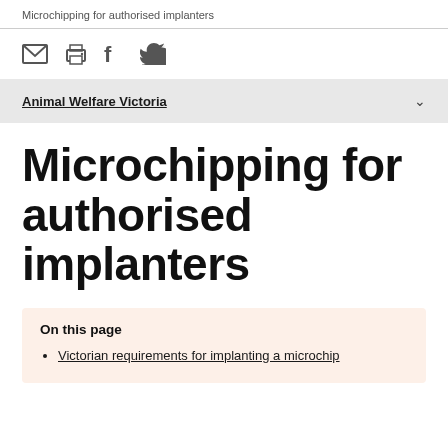Microchipping for authorised implanters
[Figure (other): Social sharing icons: email, print, Facebook, Twitter]
Animal Welfare Victoria
Microchipping for authorised implanters
On this page
Victorian requirements for implanting a microchip